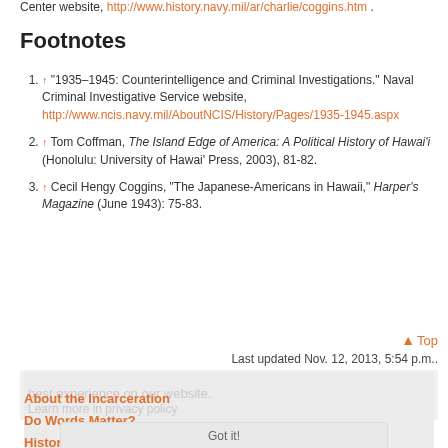Center website, http://www.history.navy.mil/ar/charlie/coggins.htm .
Footnotes
↑ "1935–1945: Counterintelligence and Criminal Investigations." Naval Criminal Investigative Service website, http://www.ncis.navy.mil/AboutNCIS/History/Pages/1935-1945.aspx
↑ Tom Coffman, The Island Edge of America: A Political History of Hawai'i (Honolulu: University of Hawai' Press, 2003), 81-82.
↑ Cecil Hengy Coggins, "The Japanese-Americans in Hawaii," Harper's Magazine (June 1943): 75-83.
▲ Top
Last updated Nov. 12, 2013, 5:54 p.m..
About the Incarceration
Do Words Matter?
Historical Timeline
Map
Got it!